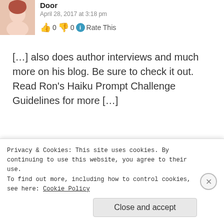[Figure (photo): Avatar photo of a woman with red/auburn hair]
Door
April 28, 2017 at 3:18 pm
👍 0 👎 0 ℹ Rate This
[…] also does author interviews and much more on his blog. Be sure to check it out. Read Ron's Haiku Prompt Challenge Guidelines for more […]
★ Like
[Figure (photo): Avatar photo of a blonde woman]
Haiku Friday – Leap & Throb | The Writer Next
Privacy & Cookies: This site uses cookies. By continuing to use this website, you agree to their use.
To find out more, including how to control cookies, see here: Cookie Policy
Close and accept